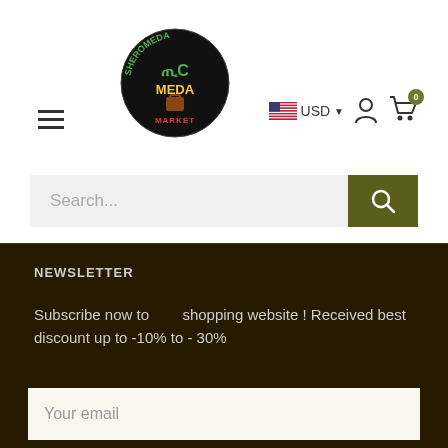[Figure (logo): Sheromeda Meda Market circular logo with green, yellow, red text on black background]
USD
0
Search...
NEWSLETTER
Subscribe now to   shopping website ! Received best discount up to -10% to - 30%
Your email
Subscribe